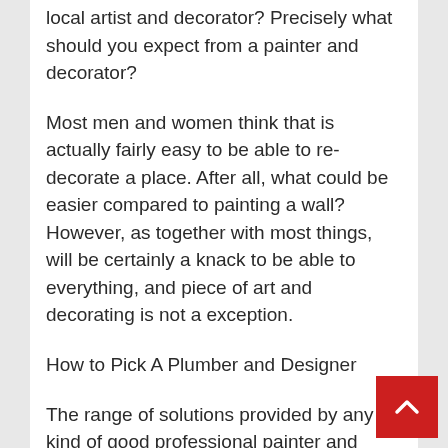local artist and decorator? Precisely what should you expect from a painter and decorator?
Most men and women think that is actually fairly easy to be able to re-decorate a place. After all, what could be easier compared to painting a wall? However, as together with most things, will be certainly a knack to be able to everything, and piece of art and decorating is not a exception.
How to Pick A Plumber and Designer
The range of solutions provided by any kind of good professional painter and decorator will include the right away: